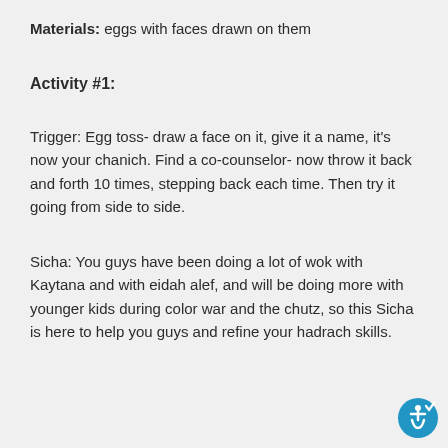Materials: eggs with faces drawn on them
Activity #1:
Trigger: Egg toss- draw a face on it, give it a name, it's now your chanich. Find a co-counselor- now throw it back and forth 10 times, stepping back each time. Then try it going from side to side.
Sicha: You guys have been doing a lot of wok with Kaytana and with eidah alef, and will be doing more with younger kids during color war and the chutz, so this Sicha is here to help you guys and refine your hadrach skills.